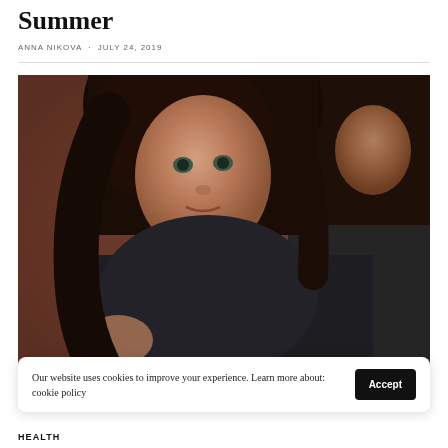Summer
ANNA NIKOVA · JULY 24, 2019
[Figure (photo): Two girls photographed against a brown studio background. The girl in the foreground has long dark hair and blue-green eyes, wearing a dark gray knit sweater, hugging her knees. A second girl is visible behind her on the right side, also with dark hair, looking down.]
Our website uses cookies to improve your experience. Learn more about: cookie policy
HEALTH